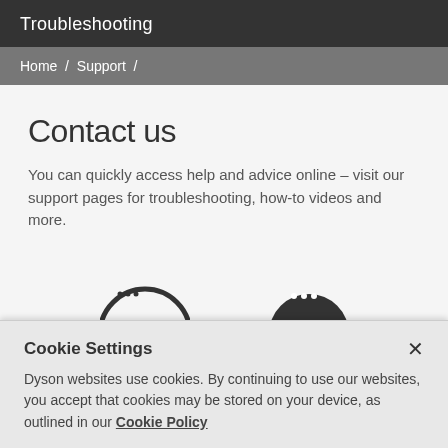Troubleshooting
Home / Support /
Contact us
You can quickly access help and advice online – visit our support pages for troubleshooting, how-to videos and more.
[Figure (illustration): Two circular icons partially visible at the bottom of the page — a phone/contact icon on the left (outlined circle with a phone symbol) and a chat/message icon on the right (filled dark circle with dots).]
Cookie Settings
Dyson websites use cookies. By continuing to use our websites, you accept that cookies may be stored on your device, as outlined in our Cookie Policy